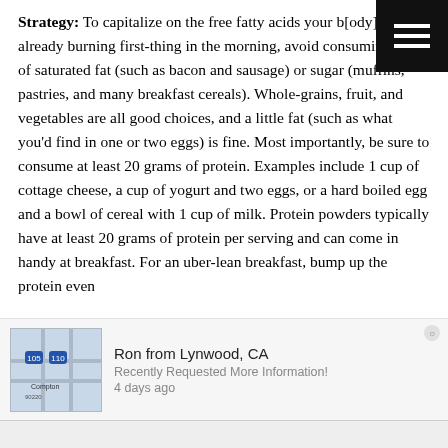Strategy: To capitalize on the free fatty acids your body is already burning first-thing in the morning, avoid consuming lots of saturated fat (such as bacon and sausage) or sugar (muffins, pastries, and many breakfast cereals). Whole-grains, fruit, and vegetables are all good choices, and a little fat (such as what you'd find in one or two eggs) is fine. Most importantly, be sure to consume at least 20 grams of protein. Examples include 1 cup of cottage cheese, a cup of yogurt and two eggs, or a hard boiled egg and a bowl of cereal with 1 cup of milk. Protein powders typically have at least 20 grams of protein per serving and can come in handy at breakfast. For an uber-lean breakfast, bump up the protein even
[Figure (map): Small map thumbnail showing Compton/Lynwood area of California with highway markers]
Ron from Lynwood, CA
Recently Requested More Information!
4 days ago